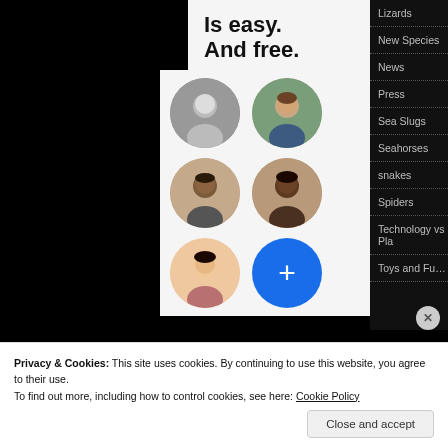Is easy. And free.
[Figure (photo): Grid of 5 circular avatar photos (profile pictures of 2 men and 3 women) and a blue plus button circle, arranged in 3 rows of 2]
Lizards
New Species
News
Press
Sea Slugs
Seahorses
snakes
Spiders
Technology vs Pla…
Toys and Fu…
Privacy & Cookies: This site uses cookies. By continuing to use this website, you agree to their use.
To find out more, including how to control cookies, see here: Cookie Policy
Close and accept